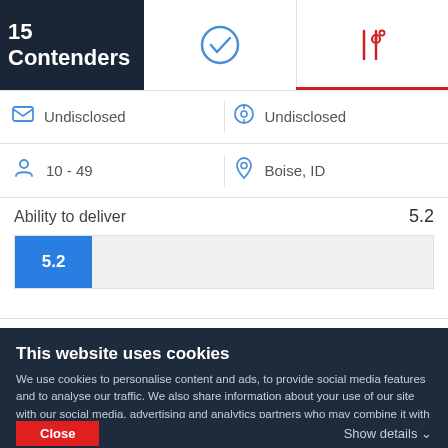15 Contenders
[Figure (infographic): Checkmark icon tab (selected view toggle)]
[Figure (infographic): Filter/settings icon tab with red underline indicating active selection]
| [tag icon] | Undisclosed | [clock icon] | Undisclosed |
| [person icon] | 10 - 49 | [location icon] | Boise, ID |
Ability to deliver
5.2
[Figure (bar-chart): Ability to deliver score bar]
Market presence
This website uses cookies
We use cookies to personalise content and ads, to provide social media features and to analyse our traffic. We also share information about your use of our site with our social media, advertising and analytics partners who may combine it with other information that you've provided to them or that they've collected from your use of their services. You agree to our cookies if you continue to use our website.
Close
Show details